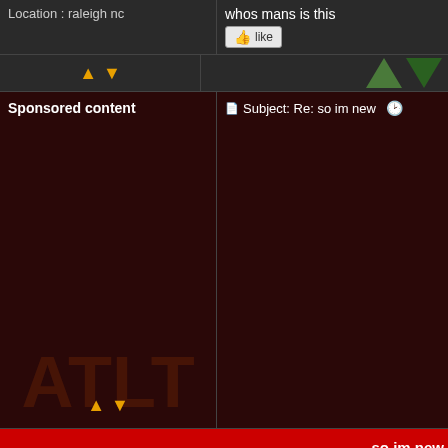Location : raleigh nc
whos mans is this
like
Sponsored content
Subject: Re: so im new
so im new
Page 1 of 1
Permissions in this forum: You cannot reply to topics in this fo
All-Terrain Lawn Tractor Forum :: New Member Forum :: Intr
Jump to:  Select a fo